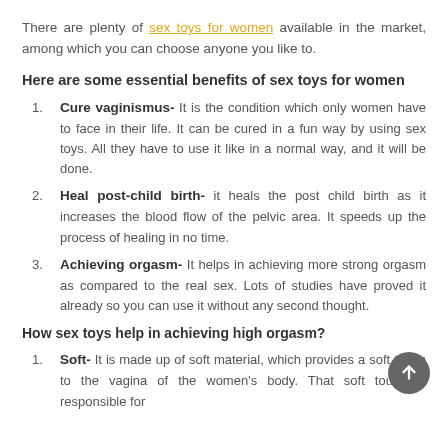There are plenty of sex toys for women available in the market, among which you can choose anyone you like to.
Here are some essential benefits of sex toys for women
Cure vaginismus- It is the condition which only women have to face in their life. It can be cured in a fun way by using sex toys. All they have to use it like in a normal way, and it will be done.
Heal post-child birth- it heals the post child birth as it increases the blood flow of the pelvic area. It speeds up the process of healing in no time.
Achieving orgasm- It helps in achieving more strong orgasm as compared to the real sex. Lots of studies have proved it already so you can use it without any second thought.
How sex toys help in achieving high orgasm?
Soft- It is made up of soft material, which provides a soft touch to the vagina of the women's body. That soft touch is responsible for